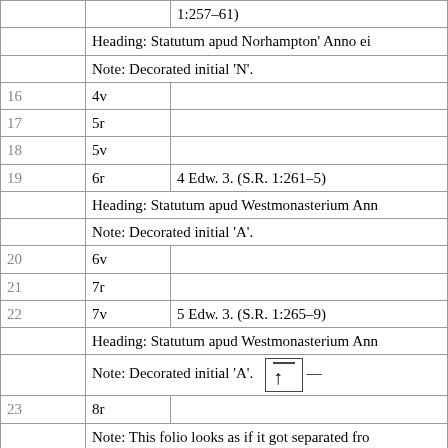| No. | Folio | Content |
| --- | --- | --- |
|  |  | 1:257–61) |
|  | Heading: Statutum apud Norhampton' Anno ei |  |
|  | Note: Decorated initial 'N'. |  |
| 16 | 4v |  |
| 17 | 5r |  |
| 18 | 5v |  |
| 19 | 6r | 4 Edw. 3. (S.R. 1:261–5) |
|  | Heading: Statutum apud Westmonasterium Ann |  |
|  | Note: Decorated initial 'A'. |  |
| 20 | 6v |  |
| 21 | 7r |  |
| 22 | 7v | 5 Edw. 3. (S.R. 1:265–9) |
|  | Heading: Statutum apud Westmonasterium Ann |  |
|  | Note: Decorated initial 'A'. |  |
| 23 | 8r |  |
|  | Note: This folio looks as if it got separated fro... by a professional repair that looks modern. Nei... |  |
| 24 | 8v |  |
|  | Note: Carryover indicating quire break. |  |